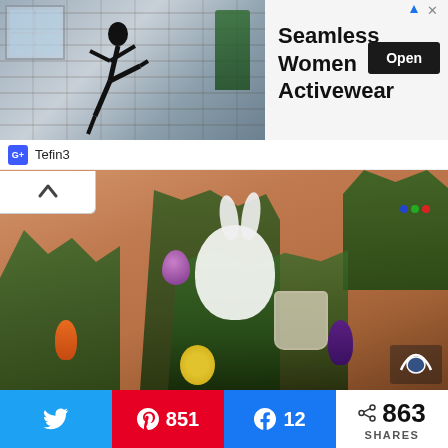[Figure (photo): Advertisement banner: woman in activewear doing a kick pose near a building. Text: Seamless Women Activewear. Open button.]
Seamless Women Activewear
Tefin3
[Figure (photo): Close-up photo of elaborate nail art on fingers showing Easter/spring themed designs: white rabbit, Easter eggs, tulips, flower basket, and green grass painted on acrylic nails.]
851
12
863 SHARES